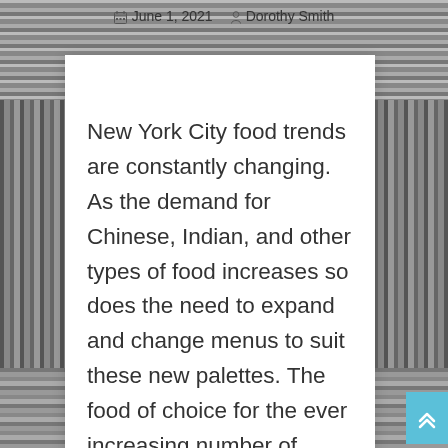June 1, 2021  Dorothy Smith
New York City food trends are constantly changing. As the demand for Chinese, Indian, and other types of food increases so does the need to expand and change menus to suit these new palettes. The food of choice for the ever increasing number of tourists, as well as locals, is a mixture of cuisines from all over the world. There are no shortages of great Chinese, Indian, or Italian food in NYC, but now there is also an abundance of Mediterranean-